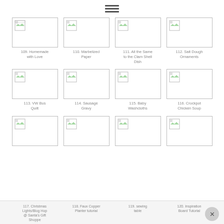≡
[Figure (other): Thumbnail image placeholder 109]
109. Homemade with Love
[Figure (other): Thumbnail image placeholder 110]
110. Marbelized Paper
[Figure (other): Thumbnail image placeholder 111]
111. All the Same to the Clam Shell Dish
[Figure (other): Thumbnail image placeholder 112]
112. Salt Dough Ornaments
[Figure (other): Thumbnail image placeholder 113]
113. VW Bus Quilt
[Figure (other): Thumbnail image placeholder 114]
114. Sausage Gravy
[Figure (other): Thumbnail image placeholder 115]
115. Baby Washcloths
[Figure (other): Thumbnail image placeholder 116]
116. Crockpot Chicken Soup
[Figure (other): Thumbnail image placeholder 117]
[Figure (other): Thumbnail image placeholder 118]
[Figure (other): Thumbnail image placeholder 119]
[Figure (other): Thumbnail image placeholder 120]
117. Christmas Lights/Blog Hop @ Santa's Gift Shoppe   118. Faux Copper Planter tutorial   119. sewing table   120. Inspiration Board Tutorial